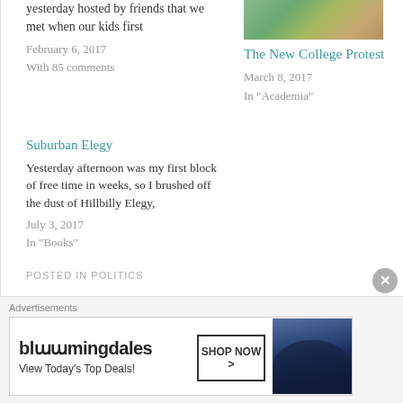[Figure (photo): Outdoor photo of trees/nature at top of right column]
The New College Protest
March 8, 2017
In "Academia"
yesterday hosted by friends that we met when our kids first
February 6, 2017
With 85 comments
Suburban Elegy
Yesterday afternoon was my first block of free time in weeks, so I brushed off the dust of Hillbilly Elegy,
July 3, 2017
In "Books"
POSTED IN POLITICS
[Figure (photo): Bloomingdale's advertisement banner with woman in hat. Text: bloomingdales, View Today's Top Deals!, SHOP NOW >]